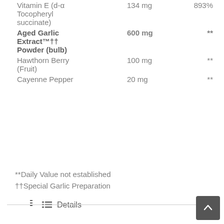| Ingredient | Amount | DV |
| --- | --- | --- |
| Vitamin E (d-α Tocopheryl succinate) | 134 mg | 893% |
| Aged Garlic Extract™†† Powder (bulb) | 600 mg | ** |
| Hawthorn Berry (Fruit) | 100 mg | ** |
| Cayenne Pepper | 20 mg | ** |
**Daily Value not established
††Special Garlic Preparation
☰ Details